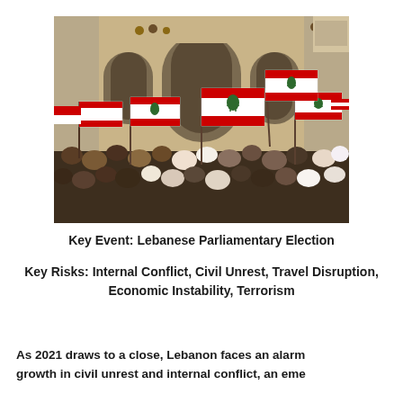[Figure (photo): A crowd of protesters waving Lebanese flags (red-white-red with green cedar tree) in front of a large stone building with arched windows. People are densely packed, many raising flags above their heads.]
Key Event: Lebanese Parliamentary Election
Key Risks: Internal Conflict, Civil Unrest, Travel Disruption, Economic Instability, Terrorism
As 2021 draws to a close, Lebanon faces an alarming growth in civil unrest and internal conflict, an emerging